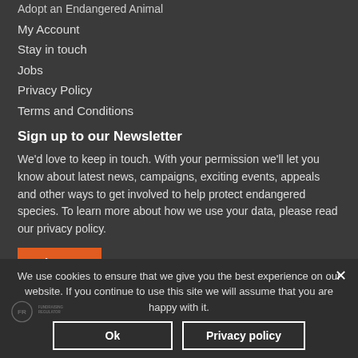Adopt an Endangered Animal
My Account
Stay in touch
Jobs
Privacy Policy
Terms and Conditions
Sign up to our Newsletter
We'd love to keep in touch. With your permission we'll let you know about latest news, campaigns, exciting events, appeals and other ways to get involved to help protect endangered species. To learn more about how we use your data, please read our privacy policy.
Sign Up
We use cookies to ensure that we give you the best experience on our website. If you continue to use this site we will assume that you are happy with it.
Ok
Privacy policy